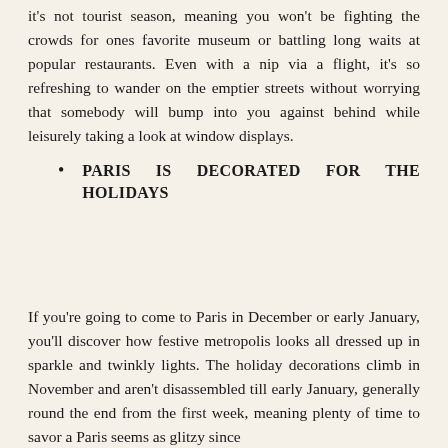it's not tourist season, meaning you won't be fighting the crowds for ones favorite museum or battling long waits at popular restaurants. Even with a nip via a flight, it's so refreshing to wander on the emptier streets without worrying that somebody will bump into you against behind while leisurely taking a look at window displays.
PARIS IS DECORATED FOR THE HOLIDAYS
If you're going to come to Paris in December or early January, you'll discover how festive metropolis looks all dressed up in sparkle and twinkly lights. The holiday decorations climb in November and aren't disassembled till early January, generally round the end from the first week, meaning plenty of time to savor a Paris seems as glitzy since